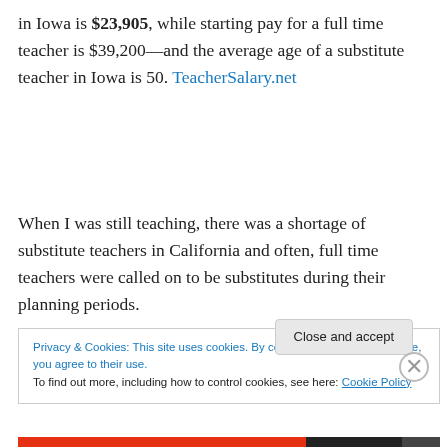in Iowa is $23,905, while starting pay for a full time teacher is $39,200—and the average age of a substitute teacher in Iowa is 50. TeacherSalary.net
When I was still teaching, there was a shortage of substitute teachers in California and often, full time teachers were called on to be substitutes during their planning periods.
Privacy & Cookies: This site uses cookies. By continuing to use this website, you agree to their use.
To find out more, including how to control cookies, see here: Cookie Policy